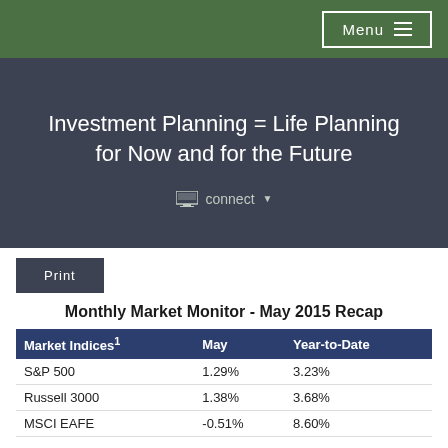Menu
Investment Planning = Life Planning for Now and for the Future
connect
Print
Monthly Market Monitor - May 2015 Recap
| Market Indices¹ | May | Year-to-Date |
| --- | --- | --- |
| S&P 500 | 1.29% | 3.23% |
| Russell 3000 | 1.38% | 3.68% |
| MSCI EAFE | -0.51% | 8.60% |